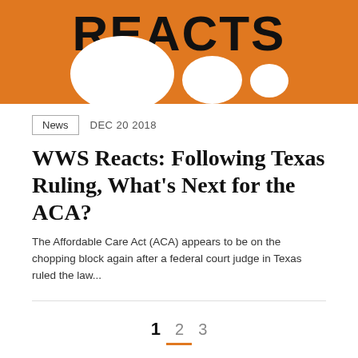[Figure (illustration): Orange background banner with white speech bubbles and bold text 'REACTS' in black at the top]
News   DEC 20 2018
WWS Reacts: Following Texas Ruling, What's Next for the ACA?
The Affordable Care Act (ACA) appears to be on the chopping block again after a federal court judge in Texas ruled the law...
1  2  3   NEXT ›